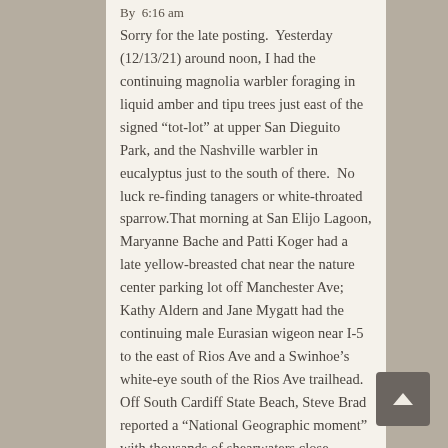By  6:16 am
Sorry for the late posting.  Yesterday (12/13/21) around noon, I had the continuing magnolia warbler foraging in liquid amber and tipu trees just east of the signed “tot-lot” at upper San Dieguito Park, and the Nashville warbler in eucalyptus just to the south of there.  No luck re-finding tanagers or white-throated sparrow.That morning at San Elijo Lagoon, Maryanne Bache and Patti Koger had a late yellow-breasted chat near the nature center parking lot off Manchester Ave; Kathy Aldern and Jane Mygatt had the continuing male Eurasian wigeon near I-5 to the east of Rios Ave and a Swinhoe’s white-eye south of the Rios Ave trailhead.  Off South Cardiff State Beach, Steve Brad reported a “National Geographic moment” with thousands of shearwaters close inshore, one Caspian tern offshore, and a possible late elegant tern.  When I arrived at 10:30, most of the shearwaters had shifted farther offshore